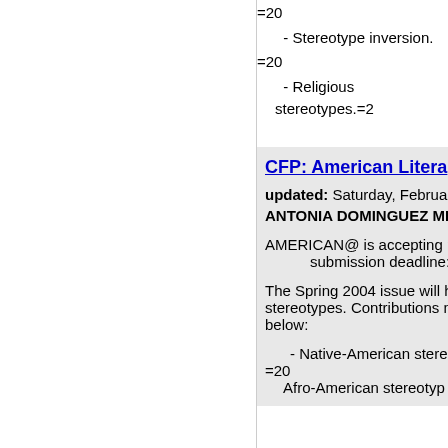=20
- Stereotype inversion.
=20
- Religious stereotypes.=2
CFP: American Litera
updated: Saturday, February
ANTONIA DOMINGUEZ MIGUE
AMERICAN@ is accepting pap submission deadline: M
The Spring 2004 issue will ha stereotypes. Contributions ma below:
- Native-American stereot
=20
Afro-American stereotyp